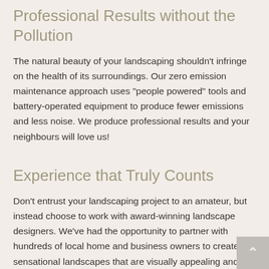Professional Results without the Pollution
The natural beauty of your landscaping shouldn't infringe on the health of its surroundings. Our zero emission maintenance approach uses "people powered" tools and battery-operated equipment to produce fewer emissions and less noise. We produce professional results and your neighbours will love us!
Experience that Truly Counts
Don't entrust your landscaping project to an amateur, but instead choose to work with award-winning landscape designers. We've had the opportunity to partner with hundreds of local home and business owners to create sensational landscapes that are visually appealing and